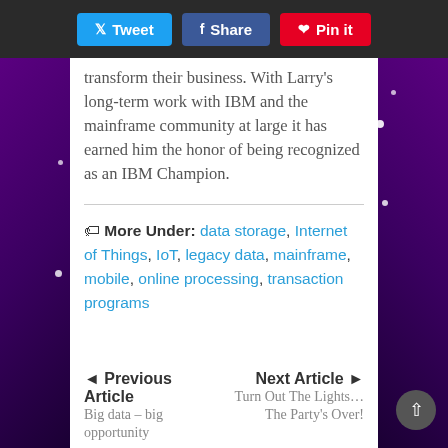Tweet | Share | Pin it
transform their business. With Larry's long-term work with IBM and the mainframe community at large it has earned him the honor of being recognized as an IBM Champion.
More Under: data storage, Internet of Things, IoT, legacy data, mainframe, mobile, online processing, transaction programs
Previous Article
Big data – big opportunity
Next Article
Turn Out The Lights... The Party's Over!